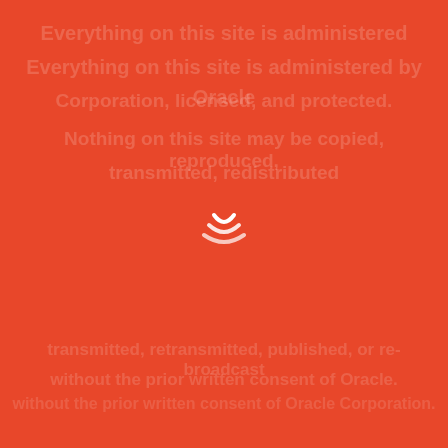[Figure (logo): White crescent/wave logo mark centered on orange-red background, with faint watermark text overlay across the page]
Everything on this site is administered by Oracle Corporation, licensed, and protected. Nothing on this site may be copied, reproduced, transmitted, redistributed, retransmitted, published, or re-broadcast without the prior written consent of Oracle.